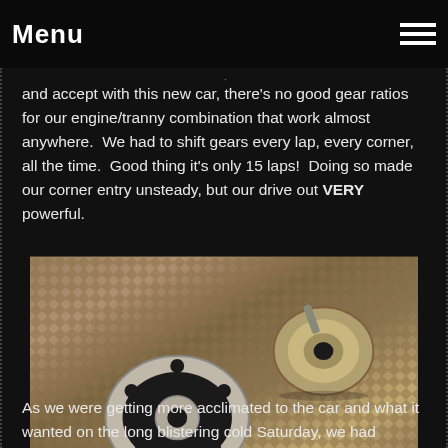Menu
and accept with this new car, there's no good gear ratios for our engine/tranny combination that work almost anywhere.  We had to shift gears every lap, every corner, all the time.  Good thing it's only 15 laps!  Doing so made our corner entry unsteady, but our drive out VERY powerful.
[Figure (photo): Photo of two metal automotive parts (wheel hub/spacer components) placed on a diamond-plate metal surface. The parts appear worn and used.]
As we were getting more acclimated to the car and what it wanted on the long blistering cold Saturday, we had